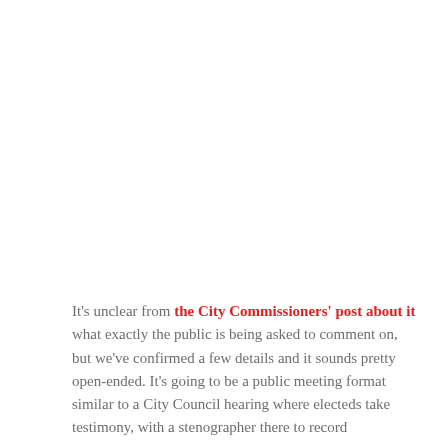It's unclear from the City Commissioners' post about it what exactly the public is being asked to comment on, but we've confirmed a few details and it sounds pretty open-ended. It's going to be a public meeting format similar to a City Council hearing where electeds take testimony, with a stenographer there to record